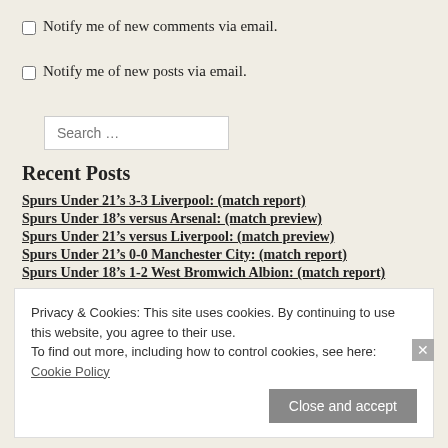Notify me of new comments via email.
Notify me of new posts via email.
Search …
Recent Posts
Spurs Under 21's 3-3 Liverpool: (match report)
Spurs Under 18's versus Arsenal: (match preview)
Spurs Under 21's versus Liverpool: (match preview)
Spurs Under 21's 0-0 Manchester City: (match report)
Spurs Under 18's 1-2 West Bromwich Albion: (match report)
Privacy & Cookies: This site uses cookies. By continuing to use this website, you agree to their use. To find out more, including how to control cookies, see here: Cookie Policy
Close and accept